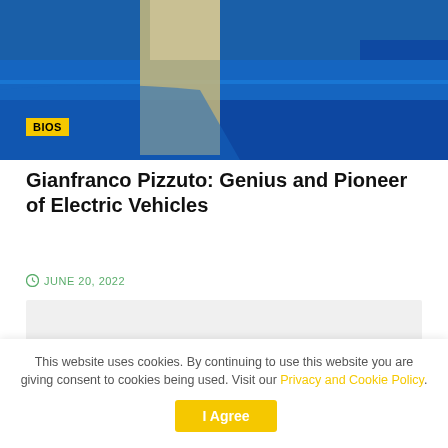[Figure (photo): A person standing next to a blue sports car, photographed from waist down. The car appears to be a blue exotic/electric vehicle.]
BIOS
Gianfranco Pizzuto: Genius and Pioneer of Electric Vehicles
JUNE 20, 2022
[Figure (other): Gray placeholder/advertisement box]
This website uses cookies. By continuing to use this website you are giving consent to cookies being used. Visit our Privacy and Cookie Policy.
I Agree